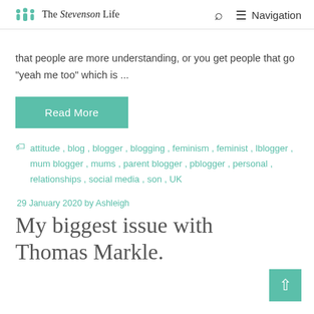The Stevenson Life  🔍  ≡ Navigation
that people are more understanding, or you get people that go "yeah me too" which is ...
Read More
attitude, blog, blogger, blogging, feminism, feminist, lblogger, mum blogger, mums, parent blogger, pblogger, personal, relationships, social media, son, UK
29 January 2020 by Ashleigh
My biggest issue with Thomas Markle.